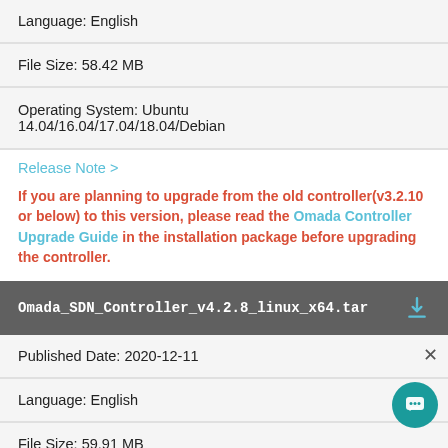Language: English
File Size: 58.42 MB
Operating System: Ubuntu 14.04/16.04/17.04/18.04/Debian
Release Note >
If you are planning to upgrade from the old controller(v3.2.10 or below) to this version, please read the Omada Controller Upgrade Guide in the installation package before upgrading the controller.
Omada_SDN_Controller_v4.2.8_linux_x64.tar
Published Date: 2020-12-11
Language: English
File Size: 59.91 MB